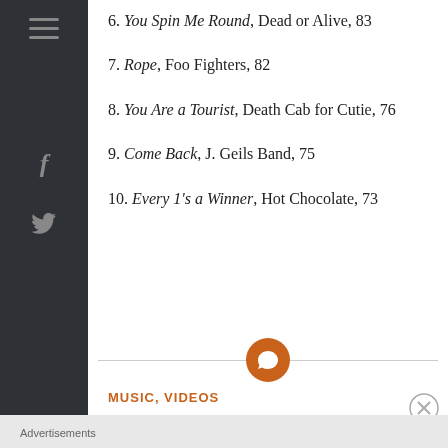6. You Spin Me Round, Dead or Alive, 83
7. Rope, Foo Fighters, 82
8. You Are a Tourist, Death Cab for Cutie, 76
9. Come Back, J. Geils Band, 75
10. Every 1's a Winner, Hot Chocolate, 73
[Figure (other): Orange circular comment/chat icon centered on a horizontal divider line]
MUSIC, VIDEOS
Advertisements